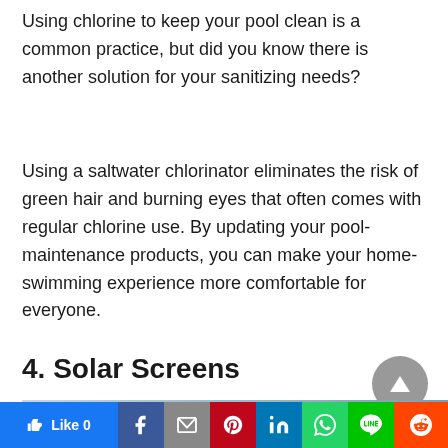Using chlorine to keep your pool clean is a common practice, but did you know there is another solution for your sanitizing needs?
Using a saltwater chlorinator eliminates the risk of green hair and burning eyes that often comes with regular chlorine use. By updating your pool-maintenance products, you can make your home-swimming experience more comfortable for everyone.
4. Solar Screens
[Figure (photo): Partial view of what appears to be a solar screen or awning structure, showing angled lines against a blue sky background.]
Like 0 | Facebook | Mail | Pinterest | LinkedIn | WhatsApp | Line | Reddit social share bar